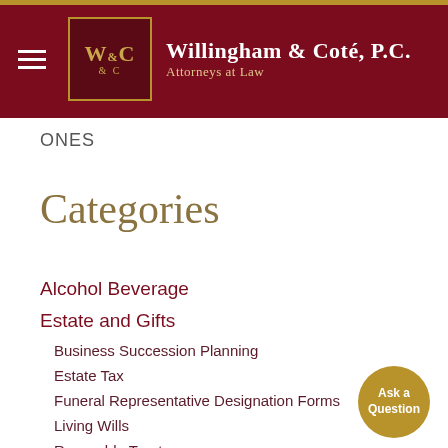[Figure (logo): Willingham & Coté, P.C. Attorneys at Law logo with hamburger menu on dark red header background]
ONES
Categories
Alcohol Beverage
Estate and Gifts
Business Succession Planning
Estate Tax
Funeral Representative Designation Forms
Living Wills
Revocable Trusts
Wills
Ask a Question